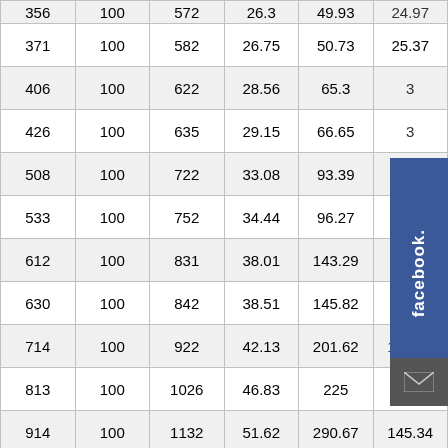| 356 | 100 | 572 | 26.3 | 49.93 | 24.97 |
| 371 | 100 | 582 | 26.75 | 50.73 | 25.37 |
| 406 | 100 | 622 | 28.56 | 65.3 | 3? |
| 426 | 100 | 635 | 29.15 | 66.65 | 3? |
| 508 | 100 | 722 | 33.08 | 93.39 | 4? |
| 533 | 100 | 752 | 34.44 | 96.27 | 4? |
| 612 | 100 | 831 | 38.01 | 143.29 | 71.65 |
| 630 | 100 | 842 | 38.51 | 145.82 | 72.91 |
| 714 | 100 | 922 | 42.13 | 201.62 | 100.81 |
| 813 | 100 | 1026 | 46.83 | 225 | 112.5 |
| 914 | 100 | 1132 | 51.62 | 290.67 | 145.34 |